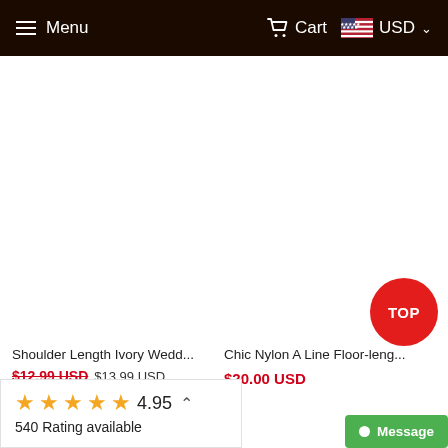Menu | Cart USD
[Figure (screenshot): White empty product image area]
Shoulder Length Ivory Wedd...
$12.99 USD  $13.99 USD
Chic Nylon A Line Floor-leng...
$20.00 USD
TOP
★★★★★ 4.95  540 Rating available
Message